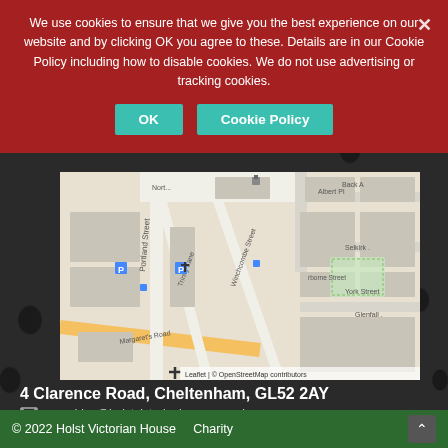We use cookies to ensure that we give you the best experience on our website and by clicking OK you agree to these. Details are in our Cookie Policy including how to disable cookies. We do not use advertising or tracking cookies.
[Figure (map): OpenStreetMap showing area around 4 Clarence Road, Cheltenham. Streets visible include Portland Street, Trinity Lane, Winchcombe Street, Margaret's Road, Albert Place, Back A, Selkirk Street, Glenfall, York Street. Parking symbols (P) marked in blue. Leaflet | © OpenStreetMap contributors.]
4 Clarence Road, Cheltenham, GL52 2AY
enquiries@holstvictorianhouse.org.uk
01242 524846
© 2022 Holst Victorian House    Charity